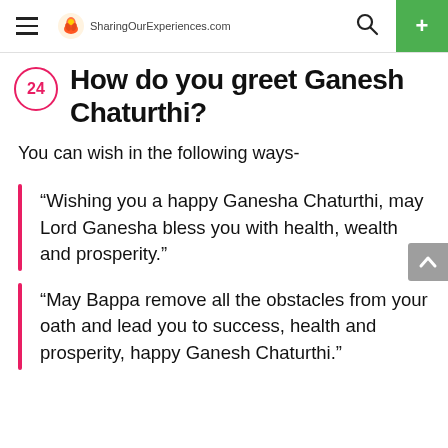SharingOurExperiences.com
How do you greet Ganesh Chaturthi?
You can wish in the following ways-
“Wishing you a happy Ganesha Chaturthi, may Lord Ganesha bless you with health, wealth and prosperity.”
“May Bappa remove all the obstacles from your oath and lead you to success, health and prosperity, happy Ganesh Chaturthi.”